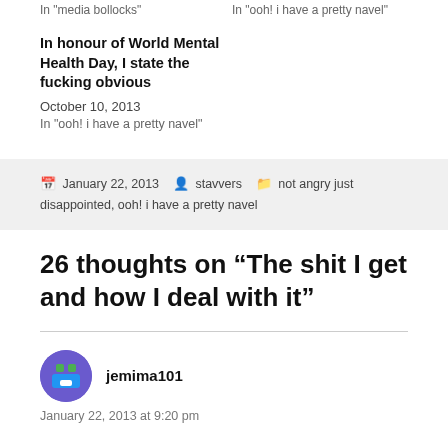In "media bollocks"
In "ooh! i have a pretty navel"
In honour of World Mental Health Day, I state the fucking obvious
October 10, 2013
In "ooh! i have a pretty navel"
January 22, 2013 · stavvers · not angry just disappointed, ooh! i have a pretty navel
26 thoughts on “The shit I get and how I deal with it”
jemima101
January 22, 2013 at 9:20 pm